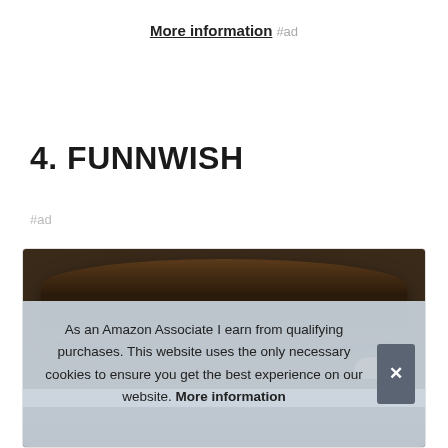More information #ad
4. FUNNWISH
#ad
[Figure (photo): Product photo of a decorative animal-shaped pillow (cat) in dark brown tones, partially visible]
As an Amazon Associate I earn from qualifying purchases. This website uses the only necessary cookies to ensure you get the best experience on our website. More information